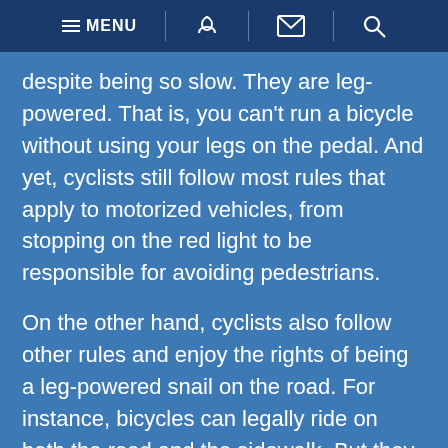MENU [phone] [email] [search]
despite being so slow. They are leg-powered. That is, you can't run a bicycle without using your legs on the pedal. And yet, cyclists still follow most rules that apply to motorized vehicles, from stopping on the red light to be responsible for avoiding pedestrians.
On the other hand, cyclists also follow other rules and enjoy the rights of being a leg-powered snail on the road. For instance, bicycles can legally ride on both the road and the sidewalk. But they do need to follow a different set of rules while there. Here are three things you may want to know if you are a cyclist among the people who walk.
A Cyclist On The Sidewalk Is Also a Pedestrian
When on the sidewalks, the laws of Florida dictate that